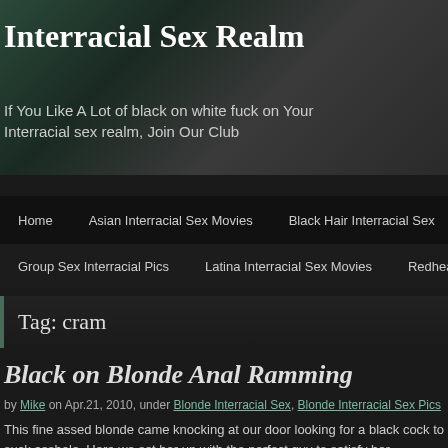Interracial Sex Realm
If You Like A Lot of black on white fuck on Your Interracial sex realm, Join Our Club
Home | Asian Interracial Sex Movies | Black Hair Interracial Sex | Blonde...
Group Sex Interracial Pics | Latina Interracial Sex Movies | Redhead Interracia...
Tag: cram
Black on Blonde Anal Ramming
by Mike on Apr.21, 2010, under Blonde Interracial Sex, Blonde Interracial Sex Pics
This fine assed blonde came knocking at our door looking for a black cock to suck asshole. Here we set her up with the perfect guy to satisfy her interracial anal crav with a huge pecker that eager to plow some white holes. In this scene she gladly s dick and soon as it got stiff, she slide it deep into her asshole and made him bang with a nice interracial creampie.